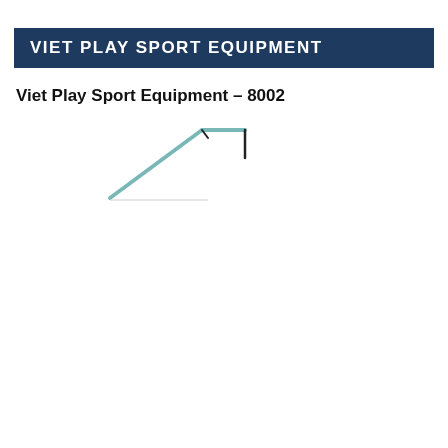VIET PLAY SPORT EQUIPMENT
Viet Play Sport Equipment – 8002
[Figure (photo): A partial view of a sports goal post frame, showing two diagonal metal bars meeting at a corner joint, photographed against a white background.]